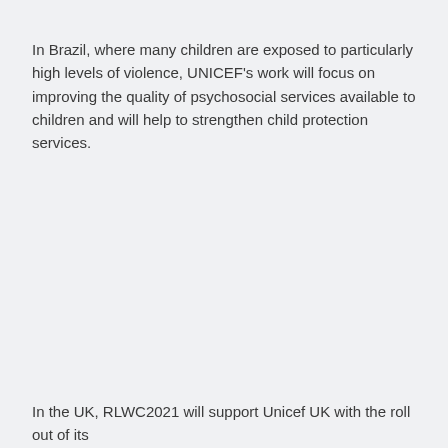In Brazil, where many children are exposed to particularly high levels of violence, UNICEF's work will focus on improving the quality of psychosocial services available to children and will help to strengthen child protection services.
In the UK, RLWC2021 will support Unicef UK with the roll out of its